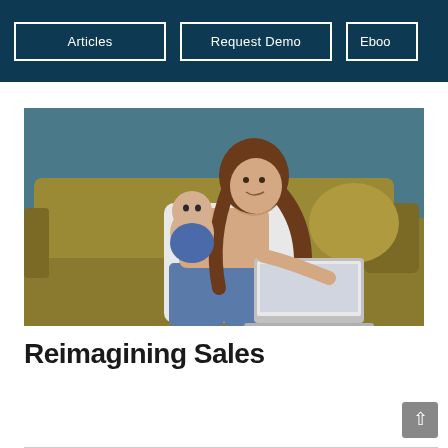Articles | Request Demo | Ebook
[Figure (photo): A woman with long hair sitting on a mustard-yellow sofa, holding a baby dressed in blue, while working on a laptop. Background is a teal/blue wall.]
Reimagining Sales